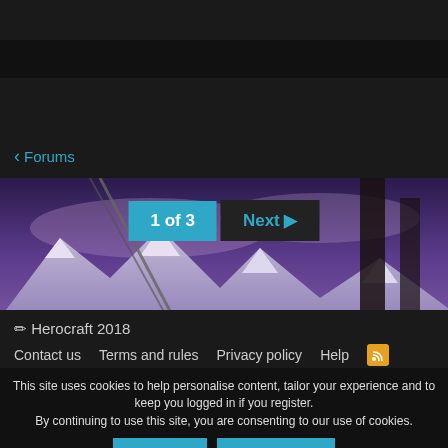[Figure (screenshot): Dark website header with navigation bar and dark background sections above a scenic mountain landscape banner image with purple/blue hues showing snow-capped mountains, chains, and tall structures. Overlaid on the banner are two buttons: '1 of 3' in teal and 'Next ▶' in dark with teal text.]
‹ Forums
✏ Herocraft 2018
Contact us   Terms and rules   Privacy policy   Help   [RSS]
This site uses cookies to help personalise content, tailor your experience and to keep you logged in if you register.
By continuing to use this site, you are consenting to our use of cookies.
Accept   Learn more...